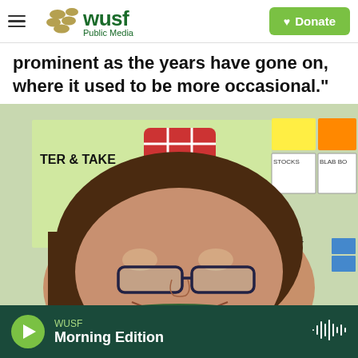WUSF Public Media — Donate
prominent as the years have gone on, where it used to be more occasional."
[Figure (photo): A woman with glasses and long brown hair smiling, photographed in a classroom setting with a projector screen showing colorful content and papers on a wall behind her.]
WUSF Morning Edition